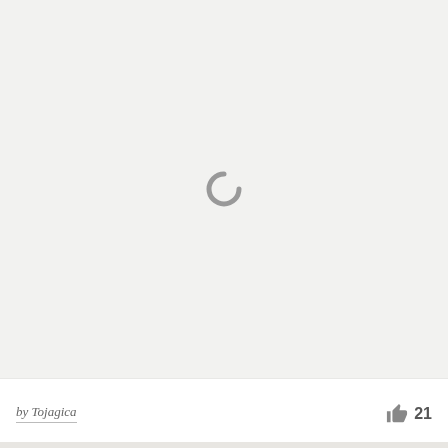[Figure (screenshot): Large light gray area with a gray spinner/loading icon centered in the upper portion of the page]
by Tojagica
21